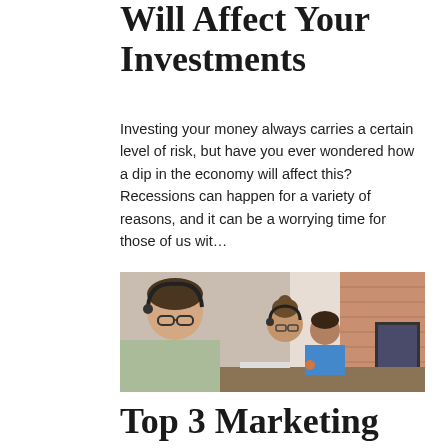Will Affect Your Investments
Investing your money always carries a certain level of risk, but have you ever wondered how a dip in the economy will affect this? Recessions can happen for a variety of reasons, and it can be a worrying time for those of us wit…
[Figure (photo): Office workers at desks with computers and headsets in a modern workspace]
Top 3 Marketing Tactics